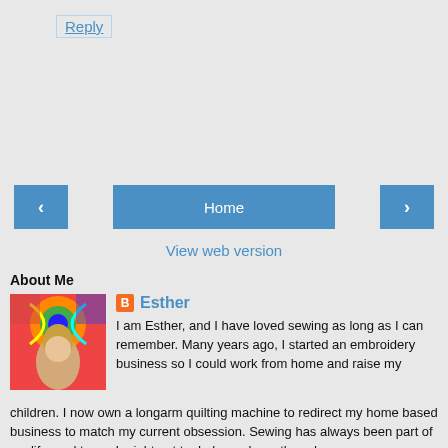Reply
[Figure (other): Navigation bar with left arrow button, Home button, and right arrow button on a gray background]
View web version
About Me
[Figure (photo): Photo of a woman with long blonde hair in front of a colorful quilt]
Esther
I am Esther, and I have loved sewing as long as I can remember. Many years ago, I started an embroidery business so I could work from home and raise my children. I now own a longarm quilting machine to redirect my home based business to match my current obsession. Sewing has always been part of my life, and try as I might not to, I always have threads on the fl...